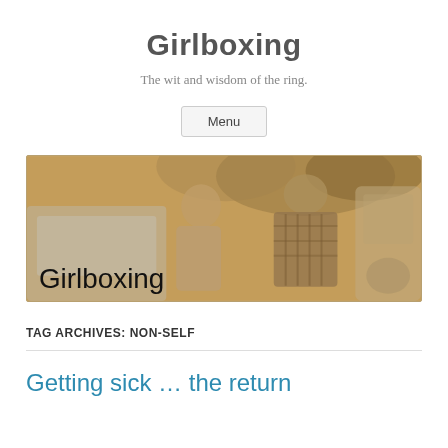Girlboxing
The wit and wisdom of the ring.
Menu
[Figure (photo): Sepia-toned banner photo showing two people near a vehicle outdoors, with the text 'Girlboxing' overlaid in the lower left corner.]
TAG ARCHIVES: NON-SELF
Getting sick … the return